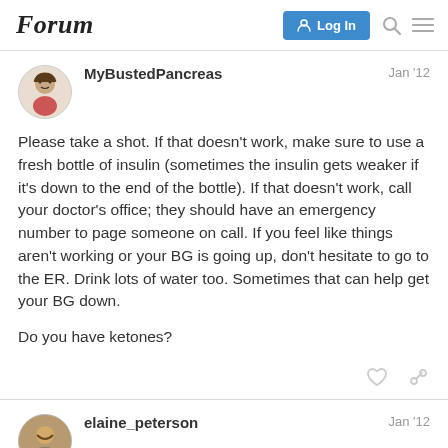Forum
MyBustedPancreas
Jan '12
Please take a shot. If that doesn't work, make sure to use a fresh bottle of insulin (sometimes the insulin gets weaker if it's down to the end of the bottle). If that doesn't work, call your doctor's office; they should have an emergency number to page someone on call. If you feel like things aren't working or your BG is going up, don't hesitate to go to the ER. Drink lots of water too. Sometimes that can help get your BG down.

Do you have ketones?
elaine_peterson
Jan '12
3 / 27